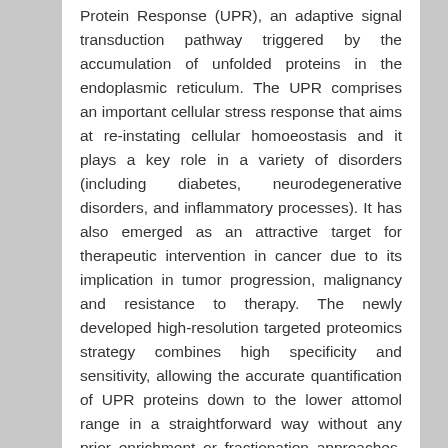Protein Response (UPR), an adaptive signal transduction pathway triggered by the accumulation of unfolded proteins in the endoplasmic reticulum. The UPR comprises an important cellular stress response that aims at re-instating cellular homoeostasis and it plays a key role in a variety of disorders (including diabetes, neurodegenerative disorders, and inflammatory processes). It has also emerged as an attractive target for therapeutic intervention in cancer due to its implication in tumor progression, malignancy and resistance to therapy. The newly developed high-resolution targeted proteomics strategy combines high specificity and sensitivity, allowing the accurate quantification of UPR proteins down to the lower attomol range in a straightforward way without any prior enrichment or fractionation approaches. This has allowed us to determine